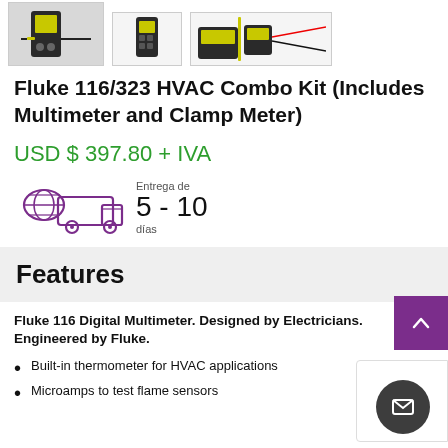[Figure (photo): Three product images of Fluke 116/323 HVAC Combo Kit showing a multimeter, a handheld multimeter, and a clamp meter]
Fluke 116/323 HVAC Combo Kit (Includes Multimeter and Clamp Meter)
USD $ 397.80 + IVA
[Figure (infographic): Delivery truck icon with globe, showing delivery time of 5 - 10 días (days)]
Features
Fluke 116 Digital Multimeter. Designed by Electricians. Engineered by Fluke.
Built-in thermometer for HVAC applications
Microamps to test flame sensors